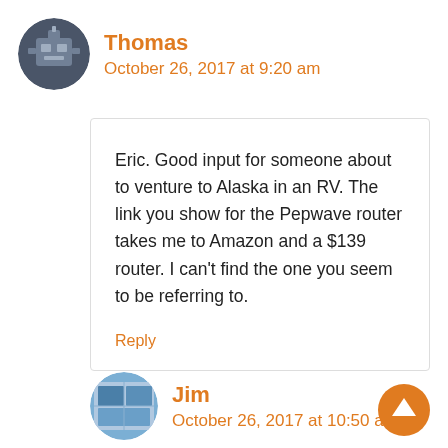Thomas
October 26, 2017 at 9:20 am
Eric. Good input for someone about to venture to Alaska in an RV. The link you show for the Pepwave router takes me to Amazon and a $139 router. I can't find the one you seem to be referring to.
Reply
Jim
October 26, 2017 at 10:50 am